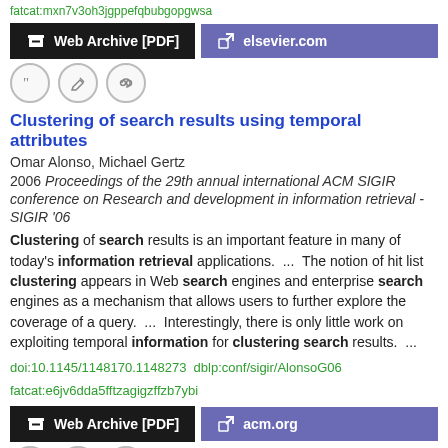fatcat:mxn7v3oh3jgppefqbubgopgwsa
Web Archive [PDF]  elsevier.com
[Figure (other): Icon buttons row: quote, edit, link]
Clustering of search results using temporal attributes
Omar Alonso, Michael Gertz
2006 Proceedings of the 29th annual international ACM SIGIR conference on Research and development in information retrieval - SIGIR '06
Clustering of search results is an important feature in many of today's information retrieval applications.  ...  The notion of hit list clustering appears in Web search engines and enterprise search engines as a mechanism that allows users to further explore the coverage of a query.  ...  Interestingly, there is only little work on exploiting temporal information for clustering search results.  ...
doi:10.1145/1148170.1148273  dblp:conf/sigir/AlonsoG06  fatcat:e6jv6dda5fftzagigzffzb7ybi
Web Archive [PDF]  acm.org
[Figure (other): Icon buttons row: quote, edit, link]